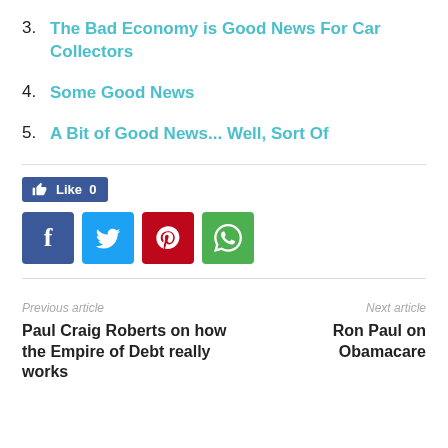3. The Bad Economy is Good News For Car Collectors
4. Some Good News
5. A Bit of Good News... Well, Sort Of
[Figure (infographic): Social sharing buttons: Like 0 button, Facebook, Twitter, Pinterest, WhatsApp icons]
Previous article
Paul Craig Roberts on how the Empire of Debt really works
Next article
Ron Paul on Obamacare